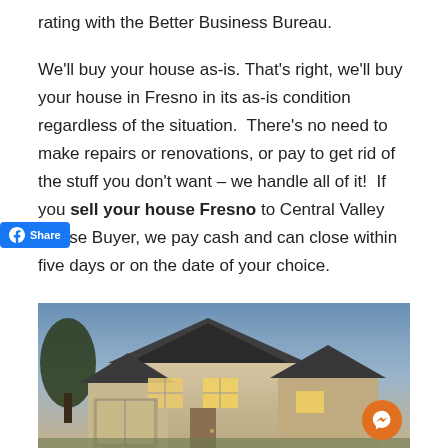rating with the Better Business Bureau.
We'll buy your house as-is. That's right, we'll buy your house in Fresno in its as-is condition regardless of the situation.  There's no need to make repairs or renovations, or pay to get rid of the stuff you don't want – we handle all of it!  If you sell your house Fresno to Central Valley House Buyer, we pay cash and can close within five days or on the date of your choice.
[Figure (photo): Photo of a house exterior at dusk with warm lighting, trees visible on left, two-story suburban home with attached garage, orange Facebook Messenger chat button overlay in bottom right corner]